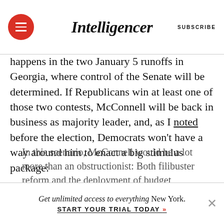Intelligencer | SUBSCRIBE
happens in the two January 5 runoffs in Georgia, where control of the Senate will be determined. If Republicans win at least one of those two contests, McConnell will be back in business as majority leader, and, as I noted before the election, Democrats won't have a way around him to enact a big stimulus package:
In this scenario, McConnell would be a lot more than an obstructionist: Both filibuster reform and the deployment of budget reconciliation to get a
Get unlimited access to everything New York. START YOUR TRIAL TODAY